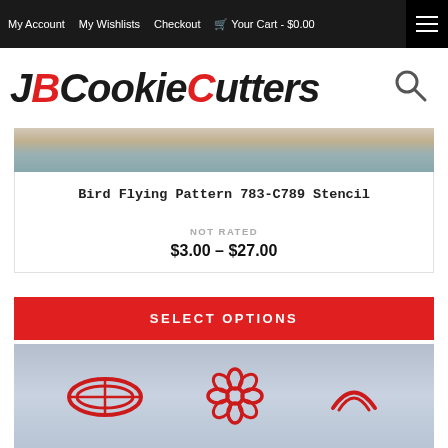My Account  My Wishlists  Checkout  🛒 Your Cart - $0.00
[Figure (logo): JBCookieCutters logo in bold italic black and red text with search icon]
[Figure (photo): Close-up photo of cookies or baking items, cropped top portion]
Bird Flying Pattern 783-C789 Stencil
NOT RATED
$3.00 – $27.00
SELECT OPTIONS
[Figure (photo): Red 3D printed cookie cutters on a grid cutting mat: an oval/ring shape, a flower shape, and a crescent/smile shape]